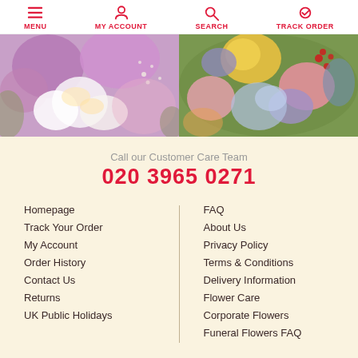MENU | MY ACCOUNT | SEARCH | TRACK ORDER
[Figure (photo): Two flower arrangement photos side by side: left shows purple roses, white orchids, and baby's breath; right shows colorful mixed flowers including yellow roses, blue clematis, pink roses, and berries]
Call our Customer Care Team
020 3965 0271
Homepage
Track Your Order
My Account
Order History
Contact Us
Returns
UK Public Holidays
FAQ
About Us
Privacy Policy
Terms & Conditions
Delivery Information
Flower Care
Corporate Flowers
Funeral Flowers FAQ